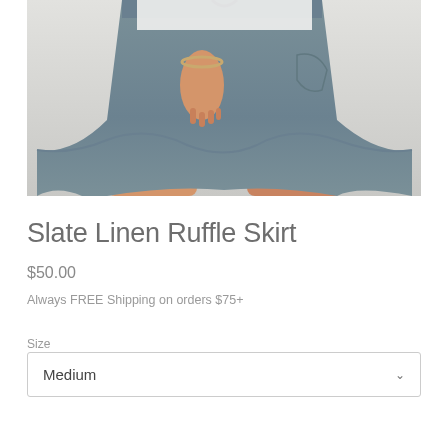[Figure (photo): Close-up photo of a woman wearing a slate blue/grey linen ruffle skirt with a white shirt. Her hand is at her side showing a gold bracelet. The skirt has a ruffled hem and a front pocket.]
Slate Linen Ruffle Skirt
$50.00
Always FREE Shipping on orders $75+
Size
Medium